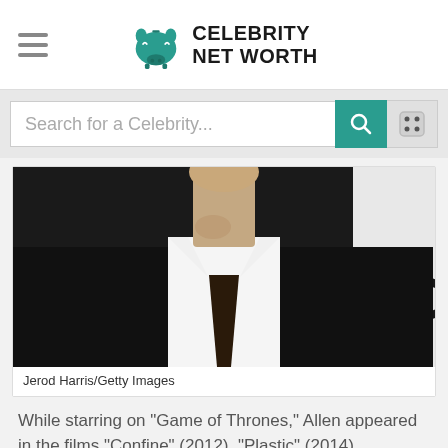Celebrity Net Worth
Search for a Celebrity...
[Figure (photo): Cropped photo of a man in a black suit with a dark tie and white dress shirt, showing neck and lower face with light stubble. Background text visible on right side. Photo credit: Jerod Harris/Getty Images]
Jerod Harris/Getty Images
While starring on "Game of Thrones," Allen appeared in the films "Confine" (2012), "Plastic" (2014), "Pandemic"